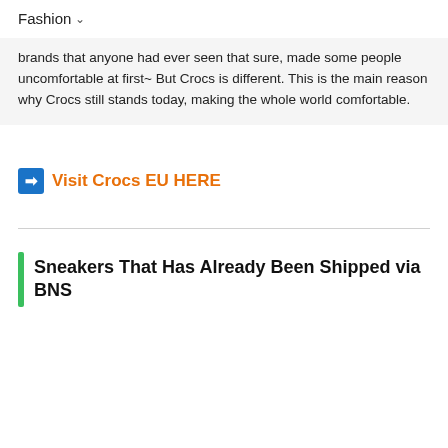Fashion
brands that anyone had ever seen that sure, made some people uncomfortable at first~ But Crocs is different. This is the main reason why Crocs still stands today, making the whole world comfortable.
➡ Visit Crocs EU HERE
Sneakers That Has Already Been Shipped via BNS
Keboi Ledesma
October 24, 2020
U.S. exclusive sneakers for retail price?
Now possible with Buyandship PH!!
Got lucky to purchase through Union's website last August and shipped to Portland warehouse.